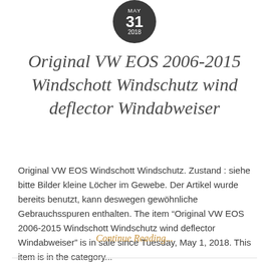[Figure (other): Dark circular date badge showing MAY 31 2018 in white text on dark grey background]
Original VW EOS 2006-2015 Windschott Windschutz wind deflector Windabweiser
Original VW EOS Windschott Windschutz. Zustand : siehe bitte Bilder kleine Löcher im Gewebe. Der Artikel wurde bereits benutzt, kann deswegen gewöhnliche Gebrauchsspuren enthalten. The item “Original VW EOS 2006-2015 Windschott Windschutz wind deflector Windabweiser” is in sale since Tuesday, May 1, 2018. This item is in the category...
Continue Reading...